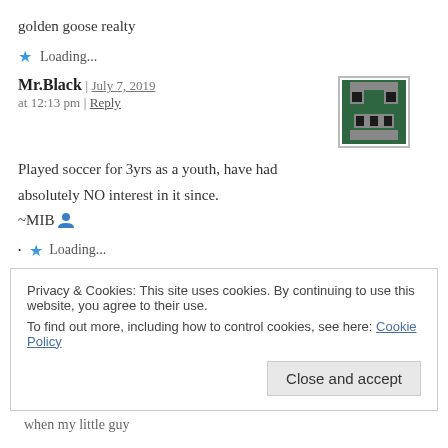golden goose realty
Loading...
Mr.Black | July 7, 2019 at 12:13 pm | Reply
Played soccer for 3yrs as a youth, have had absolutely NO interest in it since.
~MIB
Loading...
Privacy & Cookies: This site uses cookies. By continuing to use this website, you agree to their use.
To find out more, including how to control cookies, see here: Cookie Policy
Close and accept
when my little guy